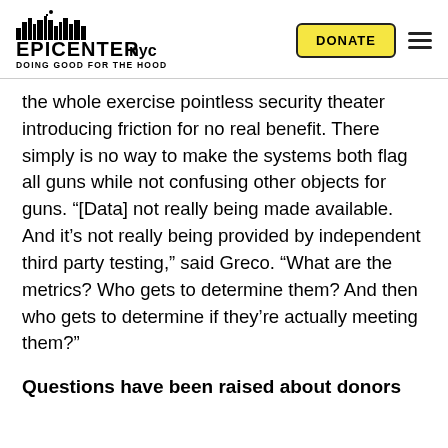EPICENTER NYC — DOING GOOD FOR THE HOOD | DONATE
the whole exercise pointless security theater introducing friction for no real benefit. There simply is no way to make the systems both flag all guns while not confusing other objects for guns. “[Data] not really being made available. And it’s not really being provided by independent third party testing,” said Greco. “What are the metrics? Who gets to determine them? And then who gets to determine if they’re actually meeting them?”
Questions have been raised about donors